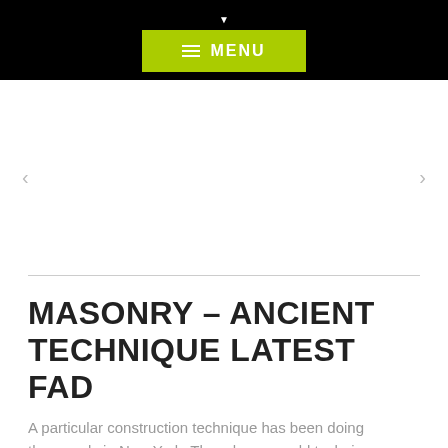MENU
[Figure (other): Slider/carousel area with left and right navigation arrows on a white background]
MASONRY – ANCIENT TECHNIQUE LATEST FAD
A particular construction technique has been doing the rounds in New York. Though a very old technique,